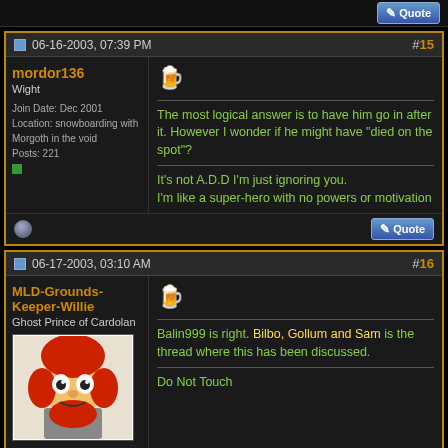Quote button strip at top
06-16-2003, 07:39 PM #15
mordor136
Wight
Join Date: Dec 2001
Location: snowboarding with Morgoth in the void
Posts: 221
The most logical answer is to have him go in after it. However I wonder if he might have "died on the spot"?

It's not A.D.D I'm just ignoring you.
I'm like a super-hero with no powers or motivation
06-17-2003, 03:10 AM #16
MLD-Grounds-Keeper-Willie
Ghost Prince of Cardolan
Join Date: Nov 2002
Location: San Francisco
Balin999 is right. Bilbo, Gollum and Sam is the thread where this has been discussed.

Do Not Touch